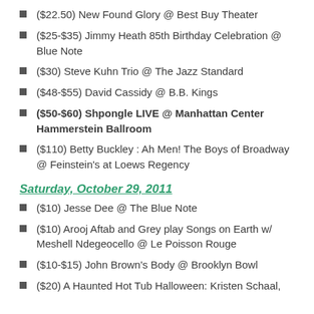($22.50) New Found Glory @ Best Buy Theater
($25-$35) Jimmy Heath 85th Birthday Celebration @ Blue Note
($30) Steve Kuhn Trio @ The Jazz Standard
($48-$55) David Cassidy @ B.B. Kings
($50-$60) Shpongle LIVE @ Manhattan Center Hammerstein Ballroom
($110) Betty Buckley : Ah Men! The Boys of Broadway @ Feinstein's at Loews Regency
Saturday, October 29, 2011
($10) Jesse Dee @ The Blue Note
($10) Arooj Aftab and Grey play Songs on Earth w/ Meshell Ndegeocello @ Le Poisson Rouge
($10-$15) John Brown's Body @ Brooklyn Bowl
($20) A Haunted Hot Tub Halloween: Kristen Schaal,